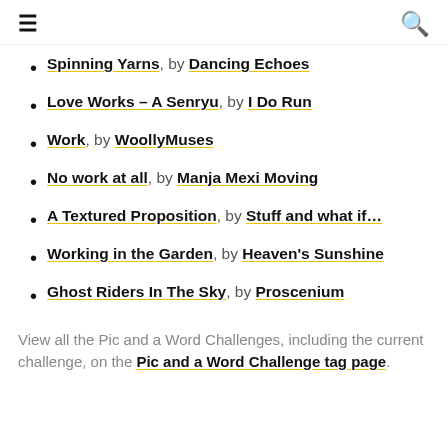≡  🔍
Spinning Yarns, by Dancing Echoes
Love Works – A Senryu, by I Do Run
Work, by WoollyMuses
No work at all, by Manja Mexi Moving
A Textured Proposition, by Stuff and what if…
Working in the Garden, by Heaven's Sunshine
Ghost Riders In The Sky, by Proscenium
View all the Pic and a Word Challenges, including the current challenge, on the Pic and a Word Challenge tag page.